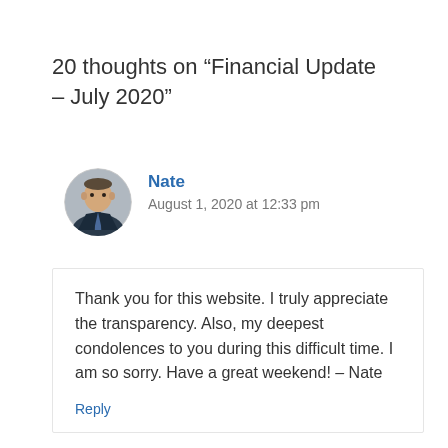20 thoughts on “Financial Update – July 2020”
Nate
August 1, 2020 at 12:33 pm
Thank you for this website. I truly appreciate the transparency. Also, my deepest condolences to you during this difficult time. I am so sorry. Have a great weekend! – Nate
Reply